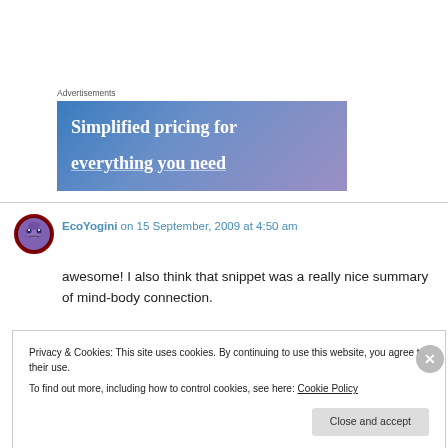Advertisements
[Figure (illustration): Advertisement banner with blue-to-purple gradient background and white text reading 'Simplified pricing for everything you need']
EcoYogini on 15 September, 2009 at 4:50 am
awesome! I also think that snippet was a really nice summary of mind-body connection.
Privacy & Cookies: This site uses cookies. By continuing to use this website, you agree to their use.
To find out more, including how to control cookies, see here: Cookie Policy
Close and accept